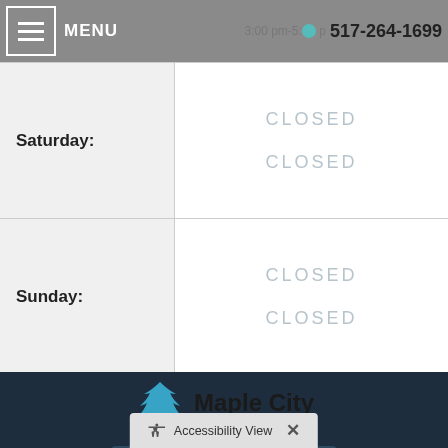Friday: 3:00 pm-5:00 pm | MENU | 517-264-1699
| Day | Hours |
| --- | --- |
| Saturday: | CLOSED
CLOSED |
| Sunday: | CLOSED
CLOSED |
[Figure (logo): Maple City Chiropractic logo with blue maple leaf icon]
[Figure (infographic): Social media icons: Facebook, Twitter, Yelp, YouTube]
Copyright © 2022 MH Sub I, LLC dba iMatrix.
Admin Log In
Accessibility View